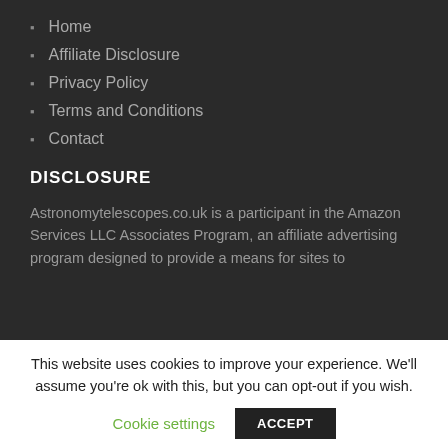Home
Affiliate Disclosure
Privacy Policy
Terms and Conditions
Contact
DISCLOSURE
Astronomytelescopes.co.uk is a participant in the Amazon Services LLC Associates Program, an affiliate advertising program designed to provide a means for sites to
This website uses cookies to improve your experience. We'll assume you're ok with this, but you can opt-out if you wish.  Cookie settings  ACCEPT